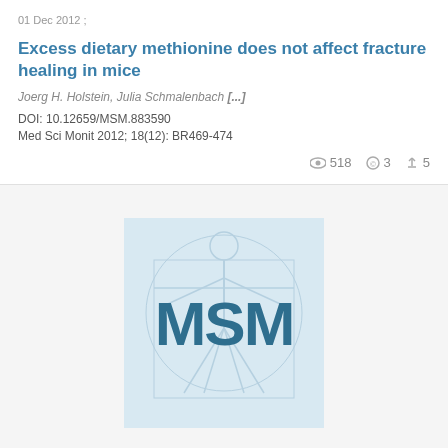01 Dec 2012 ;
Excess dietary methionine does not affect fracture healing in mice
Joerg H. Holstein, Julia Schmalenbach [...]
DOI: 10.12659/MSM.883590
Med Sci Monit 2012; 18(12): BR469-474
518  3  5
[Figure (logo): MSM (Medical Science Monitor) journal logo showing Vitruvian Man watermark with bold 'MSM' letters in dark teal]
01 Dec 2013